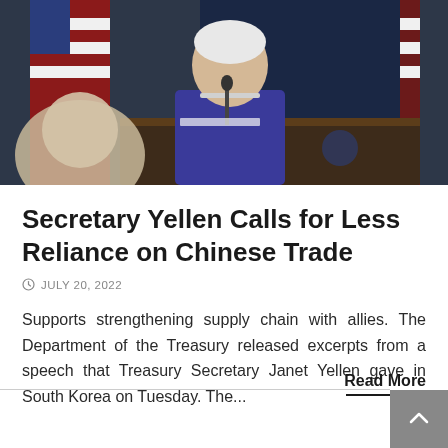[Figure (photo): Janet Yellen seated at a podium in a blue jacket with pearl necklace, American flags in background, speaking at a formal government press conference.]
Secretary Yellen Calls for Less Reliance on Chinese Trade
JULY 20, 2022
Supports strengthening supply chain with allies. The Department of the Treasury released excerpts from a speech that Treasury Secretary Janet Yellen gave in South Korea on Tuesday. The...
Read More